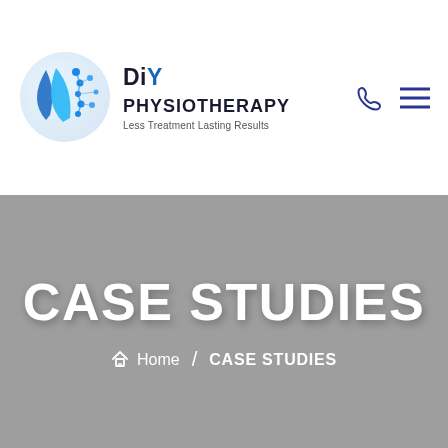[Figure (logo): DIY Physiotherapy logo: circular blue and teal icon with spine/dots motif, next to bold text 'DiY PHYSIOTHERAPY' with tagline 'Less Treatment Lasting Results']
CASE STUDIES
Home / CASE STUDIES